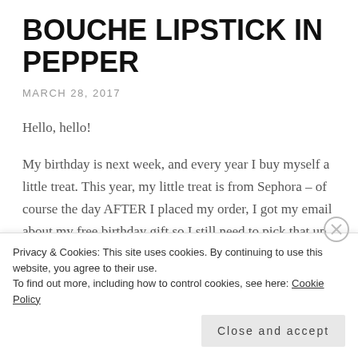BOUCHE LIPSTICK IN PEPPER
MARCH 28, 2017
Hello, hello!
My birthday is next week, and every year I buy myself a little treat. This year, my little treat is from Sephora – of course the day AFTER I placed my order, I got my email about my free birthday gift so I still need to pick that up.
Privacy & Cookies: This site uses cookies. By continuing to use this website, you agree to their use.
To find out more, including how to control cookies, see here: Cookie Policy
Close and accept